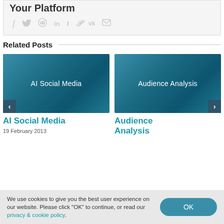Your Platform
[Figure (other): Social media share icons: Facebook, Twitter, Reddit, LinkedIn, Tumblr, Pinterest, VK, Email]
Related Posts
[Figure (illustration): Blog post thumbnail with teal gradient background and text 'AI Social Media', with left navigation arrow]
AI Social Media
19 February 2013
[Figure (illustration): Blog post thumbnail with teal gradient background and text 'Audience Analysis', with right navigation arrow]
Audience Analysis
We use cookies to give you the best user experience on our website. Please click "OK" to continue, or read our privacy & cookie policy.